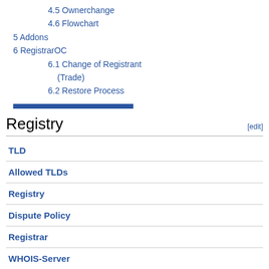4.5 Ownerchange
4.6 Flowchart
5 Addons
6 RegistrarOC
6.1 Change of Registrant (Trade)
6.2 Restore Process
Registry
| TLD |
| Allowed TLDs |
| Registry |
| Dispute Policy |
| Registrar |
| WHOIS-Server |